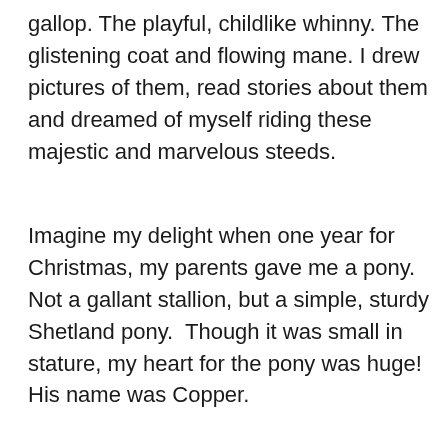gallop. The playful, childlike whinny. The glistening coat and flowing mane. I drew pictures of them, read stories about them and dreamed of myself riding these majestic and marvelous steeds.
Imagine my delight when one year for Christmas, my parents gave me a pony. Not a gallant stallion, but a simple, sturdy Shetland pony.  Though it was small in stature, my heart for the pony was huge! His name was Copper.